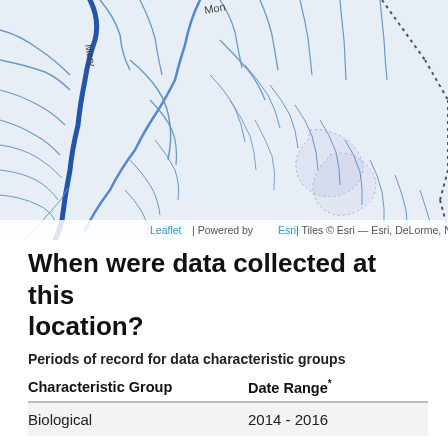[Figure (map): Topographic/waterway map showing rivers and streams in a mountainous region, with blue river lines, light blue tributary lines, dotted boundary lines, and labeled features including 'Mon' and 'Mary' text. Leaflet map powered by Esri tiles.]
Leaflet | Powered by Esri | Tiles © Esri — Esri, DeLorme, NAVTEQ, S...
When were data collected at this location?
Periods of record for data characteristic groups
| Characteristic Group | Date Range* |
| --- | --- |
| Biological | 2014 - 2016 |